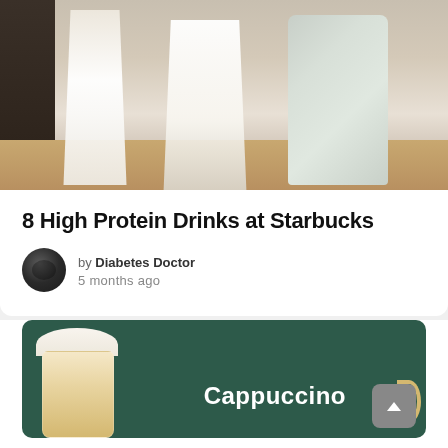[Figure (photo): Three glasses of milk-like drinks on a wooden surface with coffee beans, against a dark left background]
8 High Protein Drinks at Starbucks
by Diabetes Doctor
5 months ago
TRENDING NOW
[Figure (photo): Cappuccino drink card with dark green background showing a layered cappuccino in a glass mug, with bold white text 'Cappuccino']